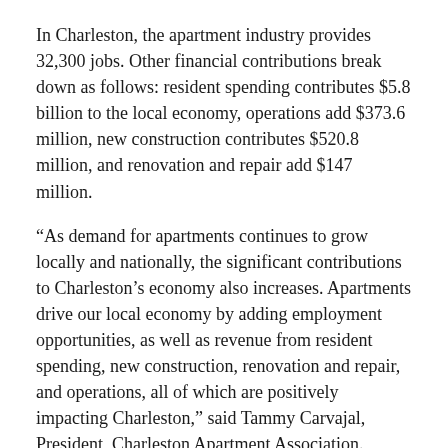In Charleston, the apartment industry provides 32,300 jobs. Other financial contributions break down as follows: resident spending contributes $5.8 billion to the local economy, operations add $373.6 million, new construction contributes $520.8 million, and renovation and repair add $147 million.
“As demand for apartments continues to grow locally and nationally, the significant contributions to Charleston’s economy also increases. Apartments drive our local economy by adding employment opportunities, as well as revenue from resident spending, new construction, renovation and repair, and operations, all of which are positively impacting Charleston,” said Tammy Carvajal, President, Charleston Apartment Association.
“Apartments are an ideal solution for many, including students, recent graduates, young professionals, families, singles, and empty nesters,” Carvajal added.